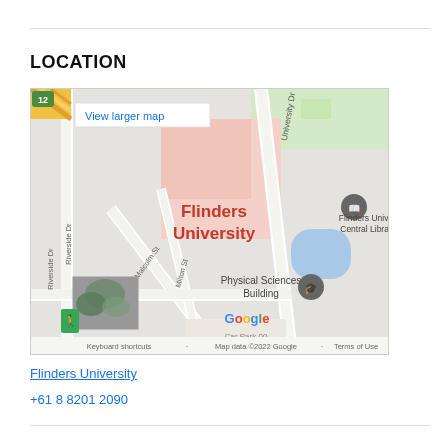LOCATION
[Figure (map): Google Maps showing Flinders University location with Physical Sciences Building, Flinders Unive Central Library, roads including University Dr, Riverside Dr, Malcolm St, Milton St. Map data ©2022 Google. Includes 'View larger map' link and 'Keyboard shortcuts', 'Map data ©2022 Google', 'Terms of Use' footer text.]
Flinders University
+61 8 8201 2090